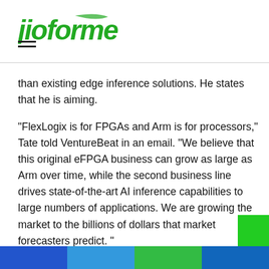jioforme
than existing edge inference solutions. He states that he is aiming.
“FlexLogix is for FPGAs and Arm is for processors,” Tate told VentureBeat in an email. “We believe that this original eFPGA business can grow as large as Arm over time, while the second business line drives state-of-the-art AI inference capabilities to large numbers of applications. We are growing the market to the billions of dollars that market forecasters predict. “